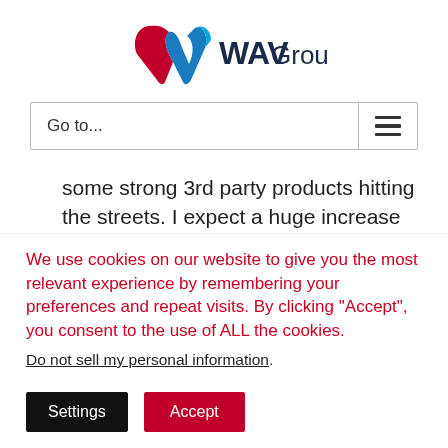[Figure (logo): WAV Group logo with stylized red and blue ribbon W and dark blue text 'WAVGroup']
Go to...
some strong 3rd party products hitting the streets. I expect a huge increase in agent mobile use with these improved tools which will, in turn, increase
We use cookies on our website to give you the most relevant experience by remembering your preferences and repeat visits. By clicking “Accept”, you consent to the use of ALL the cookies.
Do not sell my personal information.
Settings
Accept